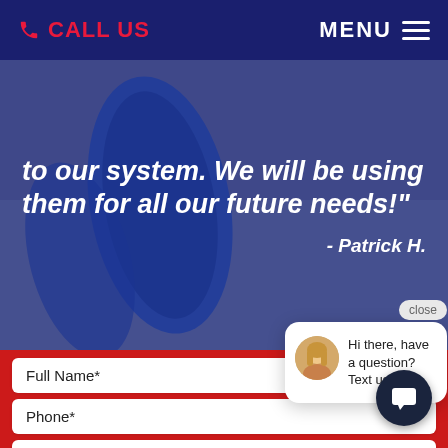CALL US   MENU
to our system. We will be using them for all our future needs!"
- Patrick H.
close
Full Name*
Hi there, have a question? Text us here.
Phone*
Email*
Are You a New Customer?*